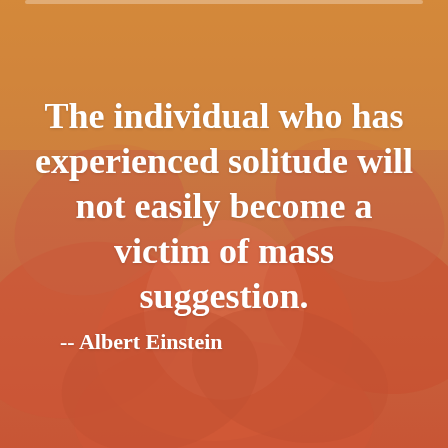[Figure (illustration): Background image of salmon/coral colored rose petals blended with an amber/golden orange gradient overlay, creating a warm decorative background for a quote graphic.]
The individual who has experienced solitude will not easily become a victim of mass suggestion.
-- Albert Einstein